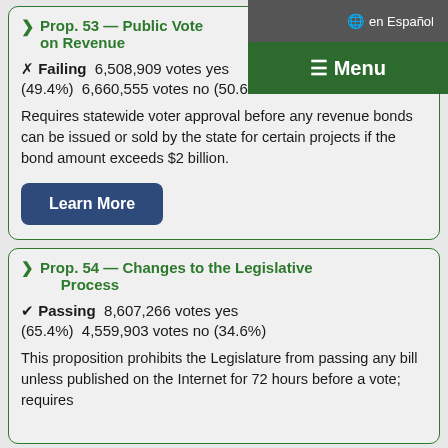en Español
Prop. 53 — Public Vote on Revenue
✗ Failing  6,508,909 votes yes (49.4%)   6,660,555 votes no (50.6%)
Requires statewide voter approval before any revenue bonds can be issued or sold by the state for certain projects if the bond amount exceeds $2 billion.
Learn More
Prop. 54 — Changes to the Legislative Process
✓ Passing  8,607,266 votes yes (65.4%)   4,559,903 votes no (34.6%)
This proposition prohibits the Legislature from passing any bill unless published on the Internet for 72 hours before a vote; requires